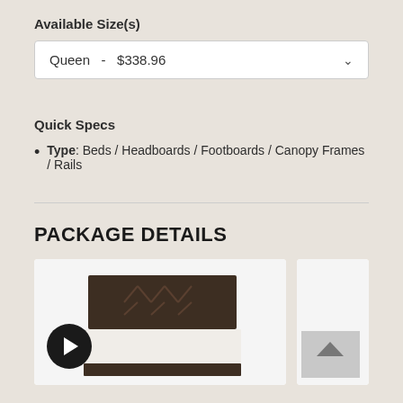Available Size(s)
Queen  -  $338.96
Quick Specs
Type: Beds / Headboards / Footboards / Canopy Frames / Rails
PACKAGE DETAILS
[Figure (photo): Product card showing a dark wood bed frame with chevron-patterned headboard, white mattress, viewed from front. A black circular play/video badge is overlaid in the lower-left corner.]
[Figure (photo): Partial second product card (cropped), showing a scroll-to-top button (gray box with upward arrow) in the lower right.]